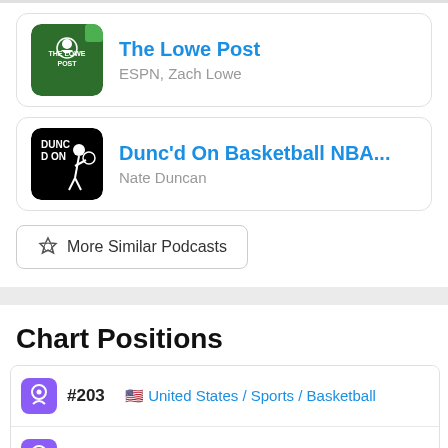[Figure (other): The Lowe Post podcast card with green logo thumbnail, title and author]
[Figure (other): Dunc'd On Basketball NBA podcast card with black/white logo thumbnail, title and author]
More Similar Podcasts
Chart Positions
| Icon | Rank | Country / Category / Subcategory |
| --- | --- | --- |
| 🎙 | #203 | 🇺🇸 United States / Sports / Basketball |
| 🎙 | #113 | 🇨🇦 Canada / Sports / Basketball |
| 🎙 | #134 | 🇬🇧 United Kingdom / Sports / Basketball |
| 🎙 | … | … |